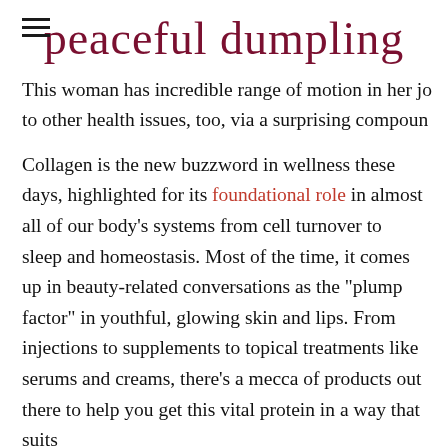peaceful dumpling
This woman has incredible range of motion in her jo to other health issues, too, via a surprising compoun
Collagen is the new buzzword in wellness these days, highlighted for its foundational role in almost all of our body’s systems from cell turnover to sleep and homeostasis. Most of the time, it comes up in beauty-related conversations as the “plump factor” in youthful, glowing skin and lips. From injections to supplements to topical treatments like serums and creams, there’s a mecca of products out there to help you get this vital protein in a way that suits